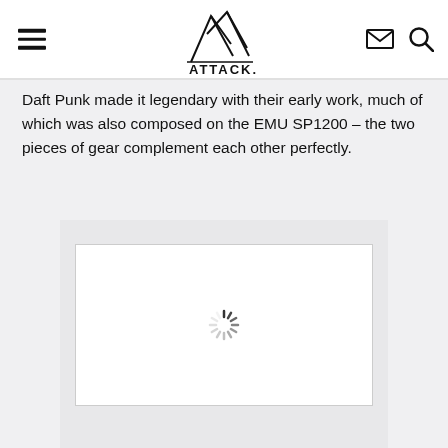ATTACK. (navigation bar with logo, hamburger menu, email icon, search icon)
Daft Punk made it legendary with their early work, much of which was also composed on the EMU SP1200 – the two pieces of gear complement each other perfectly.
[Figure (screenshot): A loading spinner (circular animated indicator) centered on a white rectangle with a light gray border, set against a light gray background panel.]